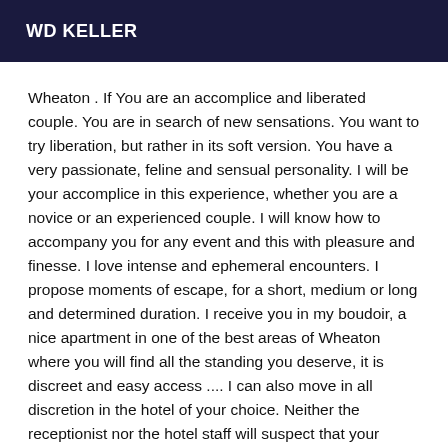WD KELLER
Wheaton . If You are an accomplice and liberated couple. You are in search of new sensations. You want to try liberation, but rather in its soft version. You have a very passionate, feline and sensual personality. I will be your accomplice in this experience, whether you are a novice or an experienced couple. I will know how to accompany you for any event and this with pleasure and finesse. I love intense and ephemeral encounters. I propose moments of escape, for a short, medium or long and determined duration. I receive you in my boudoir, a nice apartment in one of the best areas of Wheaton where you will find all the standing you deserve, it is discreet and easy access .... I can also move in all discretion in the hotel of your choice. Neither the receptionist nor the hotel staff will suspect that your charming escort will slip into bed for a moment of ecstasy.... Come and join me in Wheaton Please keep in mind that I do not answer to the S M S, nor to the hidden